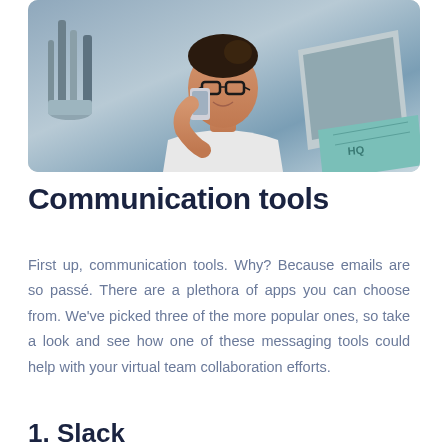[Figure (photo): A young woman with glasses holding a smartphone while working on a laptop at a desk with art supplies and a teal notebook in the background.]
Communication tools
First up, communication tools. Why? Because emails are so passé. There are a plethora of apps you can choose from. We've picked three of the more popular ones, so take a look and see how one of these messaging tools could help with your virtual team collaboration efforts.
1. Slack